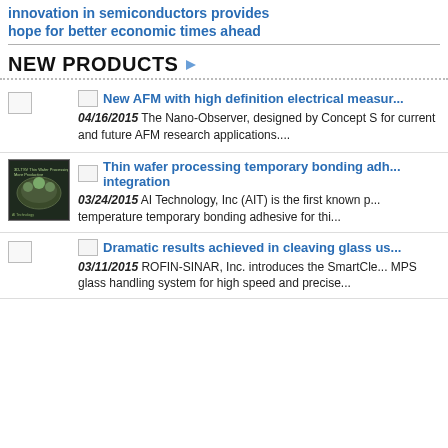innovation in semiconductors provides hope for better economic times ahead
NEW PRODUCTS
New AFM with high definition electrical measur...
04/16/2015 The Nano-Observer, designed by Concept S for current and future AFM research applications....
[Figure (photo): Product image for thin wafer processing temporary bonding adhesive]
Thin wafer processing temporary bonding adh... integration
03/24/2015 AI Technology, Inc (AIT) is the first known p... temperature temporary bonding adhesive for thi...
Dramatic results achieved in cleaving glass us...
03/11/2015 ROFIN-SINAR, Inc. introduces the SmartCle... MPS glass handling system for high speed and precise...